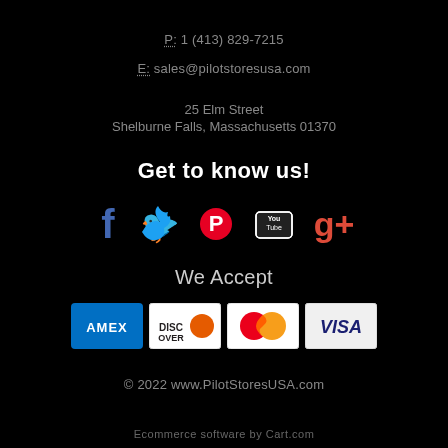P: 1 (413) 829-7215
E: sales@pilotstoresusa.com
25 Elm Street
Shelburne Falls, Massachusetts 01370
Get to know us!
[Figure (other): Social media icons: Facebook, Twitter, Pinterest, YouTube, Google+]
We Accept
[Figure (other): Payment method icons: AMEX, Discover, Mastercard, Visa]
© 2022 www.PilotStoresUSA.com
Ecommerce software by Cart.com